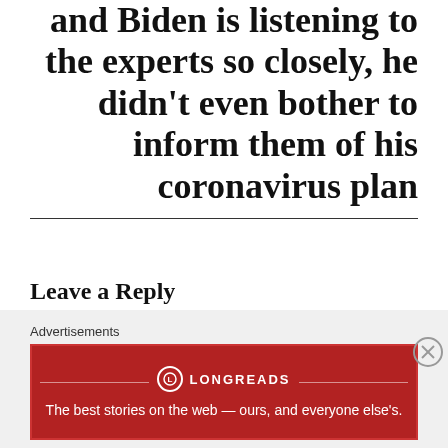and Biden is listening to the experts so closely, he didn't even bother to inform them of his coronavirus plan
Leave a Reply
Your email address will not be published. Required fields are marked *
Comment *
Advertisements
[Figure (infographic): Longreads advertisement banner in red: The best stories on the web — ours, and everyone else's.]